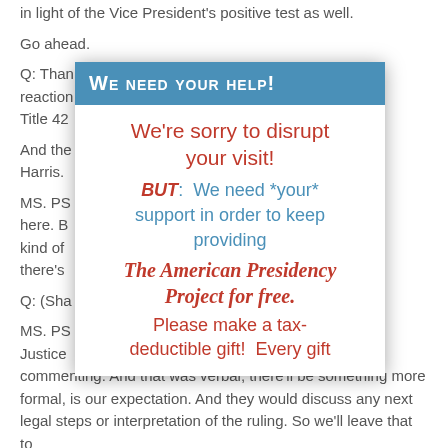in light of the Vice President's positive test as well.
Go ahead.
Q: Than… any reaction… on Title 42…
And the… nt Harris.
MS. PSA… 'm out here. B… y done kind of… re if there's…
Q: (Sha…
MS. PSA… nt of Justice … ore commenting. And that was verbal; there'll be something more formal, is our expectation. And they would discuss any next legal steps or interpretation of the ruling. So we'll leave that to
[Figure (infographic): Modal overlay popup with blue header reading 'WE NEED YOUR HELP!' and body text in red and blue asking for support for The American Presidency Project.]